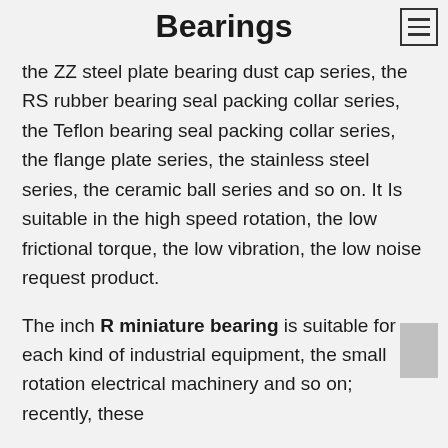Bearings
the ZZ steel plate bearing dust cap series, the RS rubber bearing seal packing collar series, the Teflon bearing seal packing collar series, the flange plate series, the stainless steel series, the ceramic ball series and so on. It Is suitable in the high speed rotation, the low frictional torque, the low vibration, the low noise request product.
The inch R miniature bearing is suitable for each kind of industrial equipment, the small rotation electrical machinery and so on; recently, these